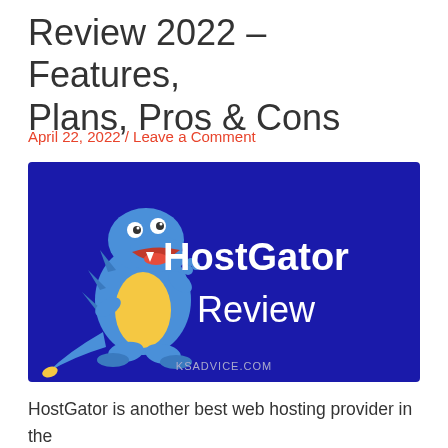Review 2022 – Features, Plans, Pros & Cons
April 22, 2022 / Leave a Comment
[Figure (illustration): HostGator Review promotional image on a blue background with HostGator cartoon alligator mascot on the left and bold white text 'HostGator Review' on the right. KSADVICE.COM watermark at the bottom center.]
HostGator is another best web hosting provider in the web hosting industry. They provide the best customer